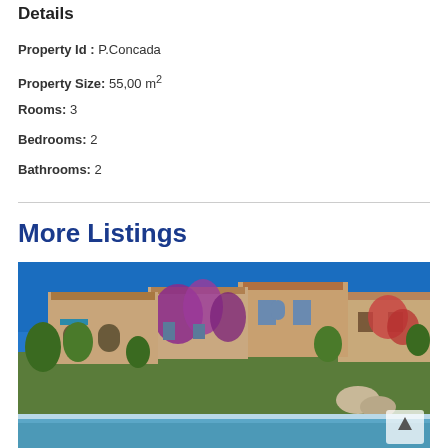Details
Property Id : P.Concada
Property Size: 55,00 m²
Rooms: 3
Bedrooms: 2
Bathrooms: 2
More Listings
[Figure (photo): Mediterranean-style villa complex with terracotta roofs, purple bougainvillea, stone arches, blue sky, and a pool in the foreground]